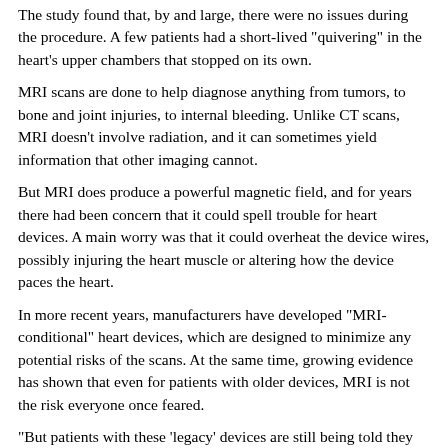The study found that, by and large, there were no issues during the procedure. A few patients had a short-lived "quivering" in the heart's upper chambers that stopped on its own.
MRI scans are done to help diagnose anything from tumors, to bone and joint injuries, to internal bleeding. Unlike CT scans, MRI doesn't involve radiation, and it can sometimes yield information that other imaging cannot.
But MRI does produce a powerful magnetic field, and for years there had been concern that it could spell trouble for heart devices. A main worry was that it could overheat the device wires, possibly injuring the heart muscle or altering how the device paces the heart.
In more recent years, manufacturers have developed "MRI-conditional" heart devices, which are designed to minimize any potential risks of the scans. At the same time, growing evidence has shown that even for patients with older devices, MRI is not the risk everyone once feared.
"But patients with these 'legacy' devices are still being told they can't have an MRI," said Dr. Sanjaya Gupta, a cardiologist at Saint Luke's Mid-America Heart Institute in Kansas City, Mo.
Gupta, the lead researcher on the new study, said it was inspired, in